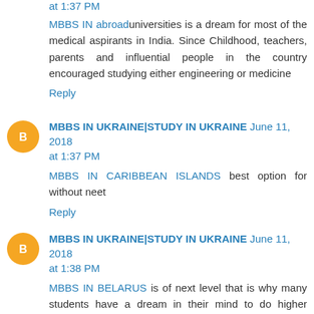at 1:37 PM
MBBS IN abroad universities is a dream for most of the medical aspirants in India. Since Childhood, teachers, parents and influential people in the country encouraged studying either engineering or medicine
Reply
MBBS IN UKRAINE|STUDY IN UKRAINE June 11, 2018 at 1:37 PM
MBBS IN CARIBBEAN ISLANDS best option for without neet
Reply
MBBS IN UKRAINE|STUDY IN UKRAINE June 11, 2018 at 1:38 PM
MBBS IN BELARUS is of next level that is why many students have a dream in their mind to do higher education in Belarus is very cheap